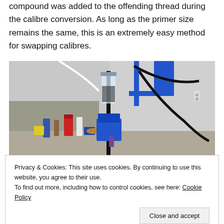compound was added to the offending thread during the calibre conversion. As long as the primer size remains the same, this is an extremely easy method for swapping calibres.
[Figure (photo): A reloading press mounted on a stand, with a powder measure/funnel hopper on top, blue components, and various reloading supplies and bottles on a workbench in the background.]
Privacy & Cookies: This site uses cookies. By continuing to use this website, you agree to their use. To find out more, including how to control cookies, see here: Cookie Policy